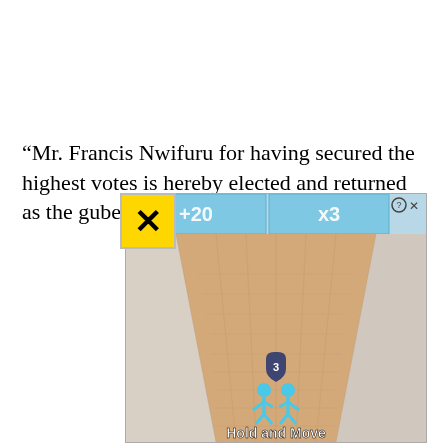“Mr. Francis Nwifuru for having secured the highest votes is hereby elected and returned as the gubernatorial candidate of …ed.
[Figure (screenshot): A mobile game advertisement showing a 3D bowling alley lane with sand texture. At the top there are bonus tiles showing '+20' and 'x3'. A yellow X close button is overlaid top-left of the ad. Two blue stick figures are shown near the bottom center with a shield badge showing '3' above them, and text 'Hold and Move' in white bold font.]